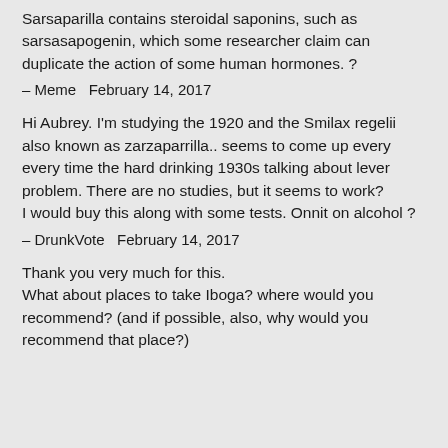Sarsaparilla contains steroidal saponins, such as sarsasapogenin, which some researcher claim can duplicate the action of some human hormones. ?
– Meme   February 14, 2017
Hi Aubrey. I'm studying the 1920 and the Smilax regelii also known as zarzaparrilla.. seems to come up every every time the hard drinking 1930s talking about lever problem. There are no studies, but it seems to work?
I would buy this along with some tests. Onnit on alcohol ?
– DrunkVote   February 14, 2017
Thank you very much for this.
What about places to take Iboga? where would you recommend? (and if possible, also, why would you recommend that place?)